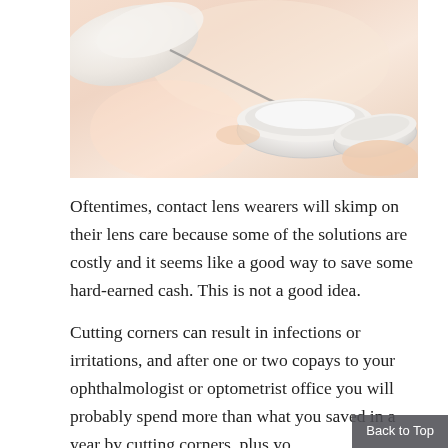[Figure (photo): Close-up photo of gloved hands handling contact lens cases/containers against a skin-toned background]
Oftentimes, contact lens wearers will skimp on their lens care because some of the solutions are costly and it seems like a good way to save some hard-earned cash. This is not a good idea.
Cutting corners can result in infections or irritations, and after one or two copays to your ophthalmologist or optometrist office you will probably spend more than what you saved in a year by cutting corners, plus yo... [continues]